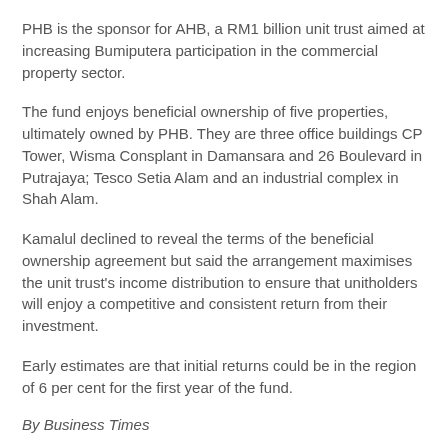PHB is the sponsor for AHB, a RM1 billion unit trust aimed at increasing Bumiputera participation in the commercial property sector.
The fund enjoys beneficial ownership of five properties, ultimately owned by PHB. They are three office buildings CP Tower, Wisma Consplant in Damansara and 26 Boulevard in Putrajaya; Tesco Setia Alam and an industrial complex in Shah Alam.
Kamalul declined to reveal the terms of the beneficial ownership agreement but said the arrangement maximises the unit trust's income distribution to ensure that unitholders will enjoy a competitive and consistent return from their investment.
Early estimates are that initial returns could be in the region of 6 per cent for the first year of the fund.
By Business Times